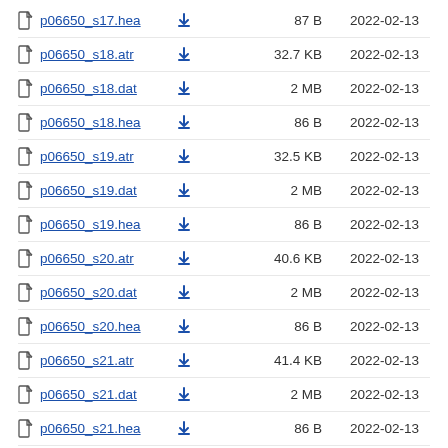p06650_s17.hea  87 B  2022-02-13
p06650_s18.atr  32.7 KB  2022-02-13
p06650_s18.dat  2 MB  2022-02-13
p06650_s18.hea  86 B  2022-02-13
p06650_s19.atr  32.5 KB  2022-02-13
p06650_s19.dat  2 MB  2022-02-13
p06650_s19.hea  86 B  2022-02-13
p06650_s20.atr  40.6 KB  2022-02-13
p06650_s20.dat  2 MB  2022-02-13
p06650_s20.hea  86 B  2022-02-13
p06650_s21.atr  41.4 KB  2022-02-13
p06650_s21.dat  2 MB  2022-02-13
p06650_s21.hea  86 B  2022-02-13